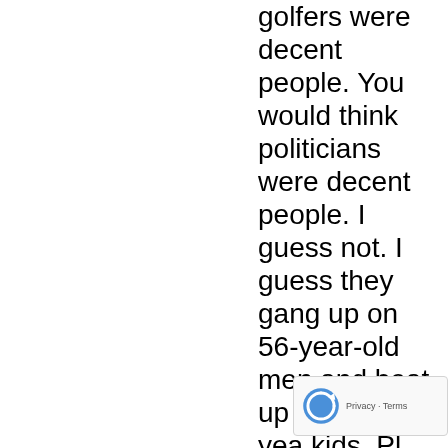golfers were decent people. You would think politicians were decent people. I guess not. I guess they gang up on 56-year-old men and beat up pleading 14-year-old kids. Pl...